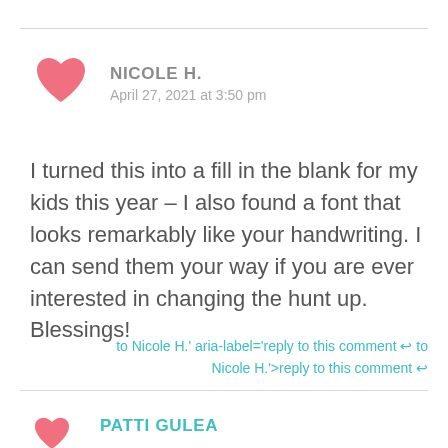[Figure (illustration): Pink heart icon representing comment avatar]
NICOLE H.
April 27, 2021 at 3:50 pm
I turned this into a fill in the blank for my kids this year – I also found a font that looks remarkably like your handwriting. I can send them your way if you are ever interested in changing the hunt up. Blessings!
to Nicole H.' aria-label='reply to this comment ↩ to Nicole H.'>reply to this comment ↩
PATTI GULEA